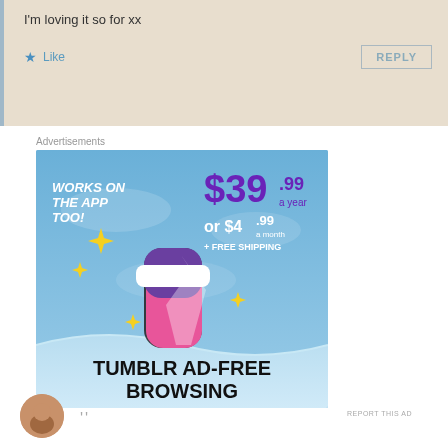I'm loving it so for xx
Like    REPLY
Advertisements
[Figure (illustration): Tumblr Ad-Free Browsing advertisement banner. Shows Tumblr logo (stylized 't') with sparkles on a blue sky background. Text reads: WORKS ON THE APP TOO!, $39.99 a year or $4.99 a month + FREE SHIPPING, TUMBLR AD-FREE BROWSING]
REPORT THIS AD
[Figure (photo): Partial circular avatar photo of a person with brown/orange toned skin]